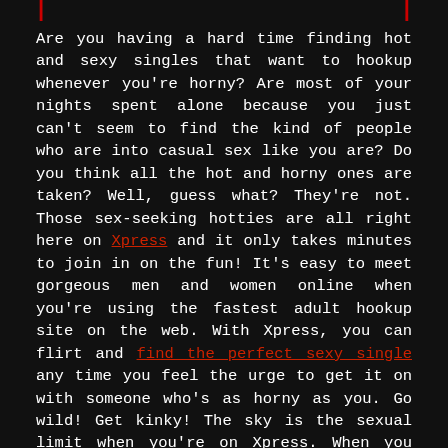Are you having a hard time finding hot and sexy singles that want to hookup whenever you're horny? Are most of your nights spent alone because you just can't seem to find the kind of people who are into casual sex like you are? Do you think all the hot and horny ones are taken? Well, guess what? They're not. Those sex-seeking hotties are all right here on Xpress and it only takes minutes to join in on the fun! It's easy to meet gorgeous men and women online when you're using the fastest adult hookup site on the web. With Xpress, you can flirt and find the perfect sexy single any time you feel the urge to get it on with someone who's as horny as you. Go wild! Get kinky! The sky is the sexual limit when you're on Xpress. When you become a member, you'll immediately have access to other horny members who can perfectly match whatever sexual mood you're in. You won't have to browse